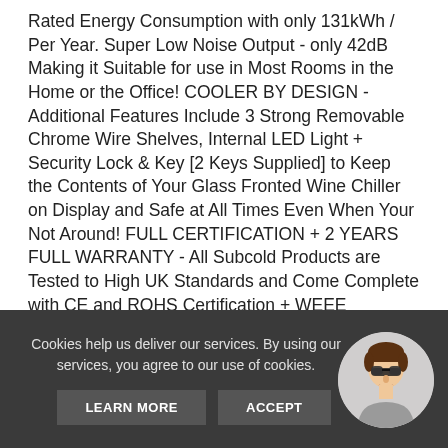Rated Energy Consumption with only 131kWh / Per Year. Super Low Noise Output - only 42dB Making it Suitable for use in Most Rooms in the Home or the Office! COOLER BY DESIGN - Additional Features Include 3 Strong Removable Chrome Wire Shelves, Internal LED Light + Security Lock & Key [2 Keys Supplied] to Keep the Contents of Your Glass Fronted Wine Chiller on Display and Safe at All Times Even When Your Not Around! FULL CERTIFICATION + 2 YEARS FULL WARRANTY - All Subcold Products are Tested to High UK Standards and Come Complete with CE and ROHS Certification + WEEE compliance and includes a Full 2 Years Warranty Period for Extra Peace of Mind!
Cookies help us deliver our services. By using our services, you agree to our use of cookies.